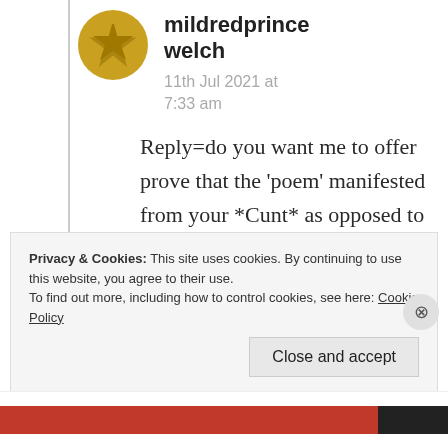[Figure (illustration): Golden/yellow star-like avatar icon for user mildredprince welch]
mildredprince welch
11th Jul 2021 at 7:33 am
Reply=do you want me to offer prove that the ‘poem’ manifested from your *Cunt* as opposed to your *Heart*?
Privacy & Cookies: This site uses cookies. By continuing to use this website, you agree to their use.
To find out more, including how to control cookies, see here: Cookie Policy
Close and accept